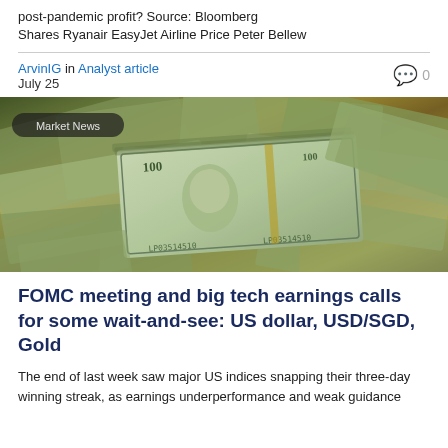post-pandemic profit? Source: Bloomberg
Shares Ryanair EasyJet Airline Price Peter Bellew
ArvinIG in Analyst article
July 25
[Figure (photo): Pile of US dollar bills with a prominent $100 bill in the foreground, overlaid with a 'Market News' badge label]
FOMC meeting and big tech earnings calls for some wait-and-see: US dollar, USD/SGD, Gold
The end of last week saw major US indices snapping their three-day winning streak, as earnings underperformance and weak guidance